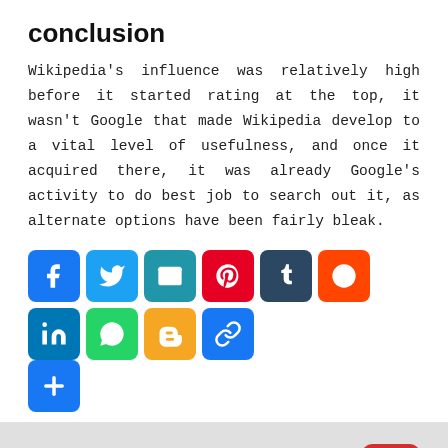conclusion
Wikipedia's influence was relatively high before it started rating at the top, it wasn't Google that made Wikipedia develop to a vital level of usefulness, and once it acquired there, it was already Google's activity to do best job to search out it, as alternate options have been fairly bleak.
[Figure (infographic): Row of social media sharing icon buttons: Facebook, Twitter, Email, Pinterest, Tumblr, Reddit, LinkedIn, WhatsApp, Blogger, Copy Link, and a plus/more button]
Related Posts